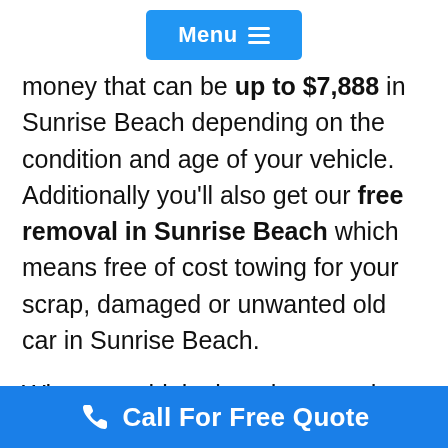Menu
money that can be up to $7,888 in Sunrise Beach depending on the condition and age of your vehicle. Additionally you'll also get our free removal in Sunrise Beach which means free of cost towing for your scrap, damaged or unwanted old car in Sunrise Beach.
When you think about how much you get for your car in Sunrise Beach. Then keep in mind that it depends totally on your location in Sunrise Beach, vehicle make, model, year and
Call For Free Quote